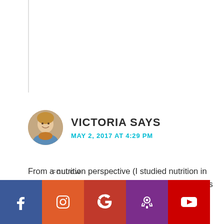[Figure (photo): Avatar photo of Victoria, a woman smiling, circular crop]
VICTORIA SAYS
MAY 2, 2017 AT 4:29 PM
From a nutrition perspective (I studied nutrition in my undergraduate), it has a lot of great ingredients packed ... about the same amount of vitamins and minerals you would have in a multivitamin. It's not meant to be a magic shake because it's a
[Figure (infographic): Social media follow bar with FOLLOW label and icons for Facebook, Instagram, Google, Podcast, YouTube]